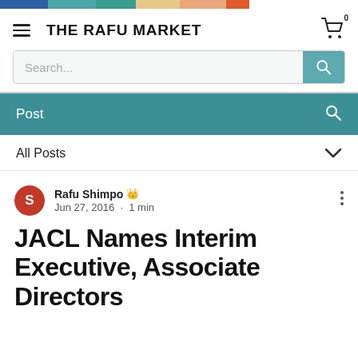[Figure (other): Horizontal color bar strip with six colored segments: blue, teal-blue, teal-green, tan/peach, light orange, orange-red]
THE RAFU MARKET
[Figure (other): Search bar with placeholder text 'Search...' and a teal search button]
Post
All Posts
Rafu Shimpo   Jun 27, 2016 · 1 min
JACL Names Interim Executive, Associate Directors